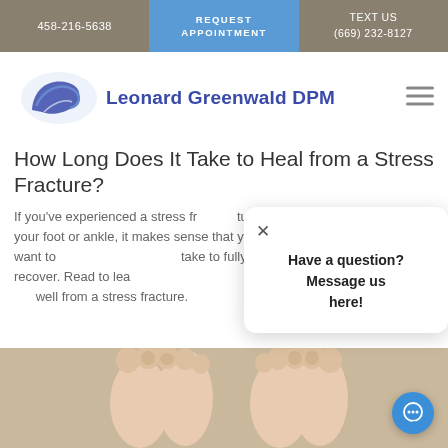458-216-5638 | REQUEST APPOINTMENT | TEXT US (669) 232-8127
[Figure (logo): Leonard Greenwald DPM logo with stylized foot/wave graphic and bold blue text]
How Long Does It Take to Heal from a Stress Fracture?
If you’ve experienced a stress fracture in your foot or ankle, it makes sense that you want to know how long it will take to fully recover. Read to learn how long it takes to get well from a stress fracture.
[Figure (screenshot): Chat popup with close X button and text: Have a question? Message us here!]
[Figure (photo): Close-up photo of two human feet/toes from above, skin-toned background]